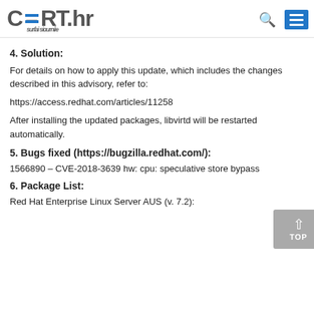CERT.hr surfaj sigurnije
4. Solution:
For details on how to apply this update, which includes the changes described in this advisory, refer to:
https://access.redhat.com/articles/11258
After installing the updated packages, libvirtd will be restarted automatically.
5. Bugs fixed (https://bugzilla.redhat.com/):
1566890 – CVE-2018-3639 hw: cpu: speculative store bypass
6. Package List:
Red Hat Enterprise Linux Server AUS (v. 7.2):